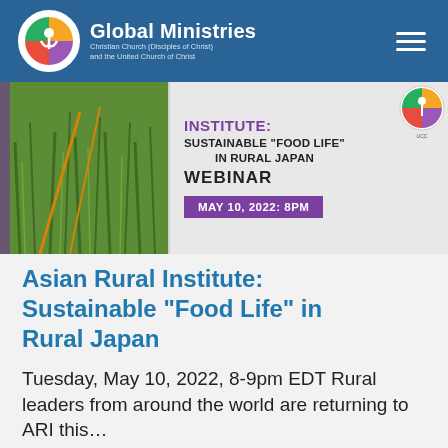Global Ministries — Christian Church (Disciples of Christ) and the United Church of Christ
[Figure (photo): Webinar promotional banner showing green grass/rice crop on the left and text: INSTITUTE: SUSTAINABLE "FOOD LIFE" IN RURAL JAPAN WEBINAR, MAY 10, 2022: 8PM, with UCC logo on the right]
Asian Rural Institute: Sustainable “Food Life” in Rural Japan
Tuesday, May 10, 2022, 8-9pm EDT Rural leaders from around the world are returning to ARI this…